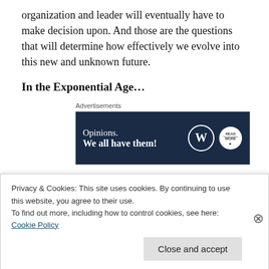organization and leader will eventually have to make decision upon. And those are the questions that will determine how effectively we evolve into this new and unknown future.
In the Exponential Age…
[Figure (other): Advertisement banner: dark navy background with text 'Opinions. We all have them!' and WordPress and another logo on the right. Label 'Advertisements' above.]
We will find that creativity and innovation are not only
Privacy & Cookies: This site uses cookies. By continuing to use this website, you agree to their use.
To find out more, including how to control cookies, see here: Cookie Policy
Close and accept